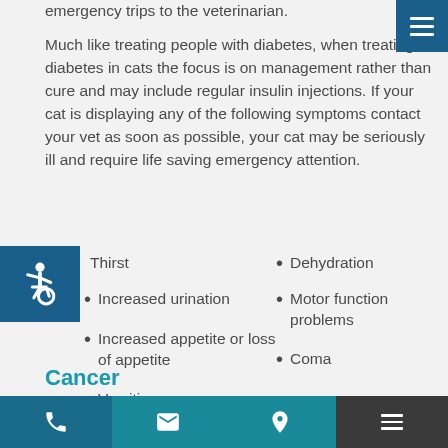emergency trips to the veterinarian.
Much like treating people with diabetes, when treating diabetes in cats the focus is on management rather than cure and may include regular insulin injections. If your cat is displaying any of the following symptoms contact your vet as soon as possible, your cat may be seriously ill and require life saving emergency attention.
Thirst
Dehydration
Increased urination
Motor function problems
Increased appetite or loss of appetite
Coma
Vomiting
Cancer
phone | email | location | menu